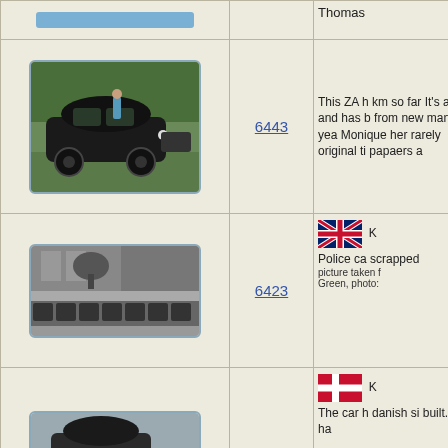[Figure (photo): Partial top row showing a button/link element, partially visible]
Thomas
[Figure (photo): Black vintage car (Lancia or similar) parked on grass at a car show, person standing beside it]
6443
This ZA h km so far It's an ori and has b from new many yea Monique her rarely original ti papaers a
[Figure (photo): Black and white photo of a row of police cars parked in front of a building]
6423
[Figure (logo): UK flag (Union Jack)]
Police ca scrapped picture taken f Green, photo:
[Figure (logo): Danish flag (red with white cross)]
The car h danish si built. It ha